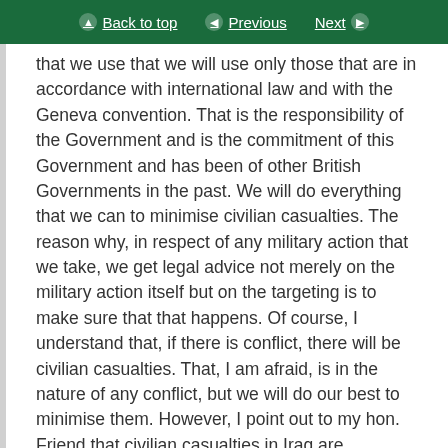Back to top | Previous | Next
that we use that we will use only those that are in accordance with international law and with the Geneva convention. That is the responsibility of the Government and is the commitment of this Government and has been of other British Governments in the past. We will do everything that we can to minimise civilian casualties. The reason why, in respect of any military action that we take, we get legal advice not merely on the military action itself but on the targeting is to make sure that that happens. Of course, I understand that, if there is conflict, there will be civilian casualties. That, I am afraid, is in the nature of any conflict, but we will do our best to minimise them. However, I point out to my hon. Friend that civilian casualties in Iraq are occurring every day as a result of the rule of